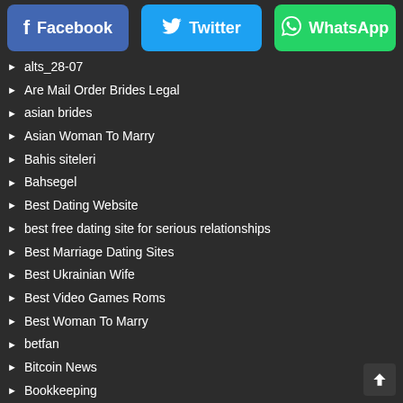[Figure (other): Social share buttons: Facebook (blue), Twitter (cyan), WhatsApp (green)]
alts_28-07
Are Mail Order Brides Legal
asian brides
Asian Woman To Marry
Bahis siteleri
Bahsegel
Best Dating Website
best free dating site for serious relationships
Best Marriage Dating Sites
Best Ukrainian Wife
Best Video Games Roms
Best Woman To Marry
betfan
Bitcoin News
Bookkeeping
brides for marriage
Buying A Bride
canli Bahis
CBD for weight loss
Cbd gummies 2022